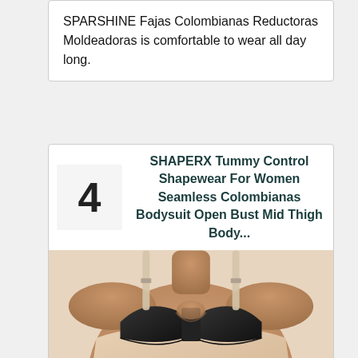SPARSHINE Fajas Colombianas Reductoras Moldeadoras is comfortable to wear all day long.
4
SHAPERX Tummy Control Shapewear For Women Seamless Colombianas Bodysuit Open Bust Mid Thigh Body...
[Figure (photo): Woman wearing black and beige open-bust shapewear bodysuit, showing torso from neck to mid-section]